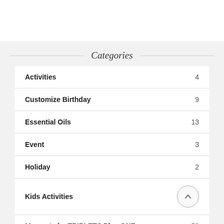Categories
Activities  4
Customize Birthday  9
Essential Oils  13
Event  3
Holiday  2
Kids Activities
Moments by TRIPLETS Plus ONE  50